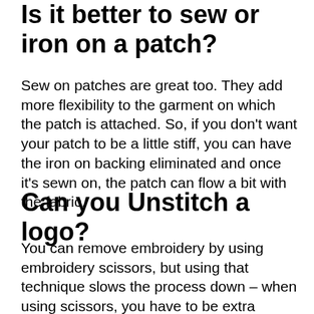Is it better to sew or iron on a patch?
Sew on patches are great too. They add more flexibility to the garment on which the patch is attached. So, if you don’t want your patch to be a little stiff, you can have the iron on backing eliminated and once it’s sewn on, the patch can flow a bit with the fabric.
Can you Unstitch a logo?
You can remove embroidery by using embroidery scissors, but using that technique slows the process down – when using scissors, you have to be extra careful as you will work almost thread per thread.